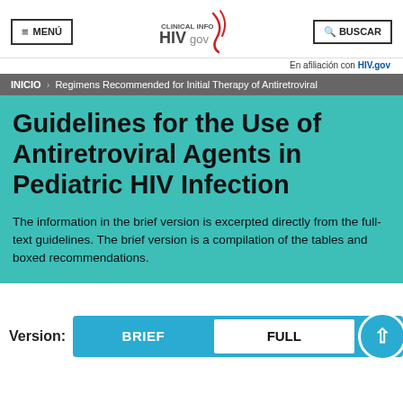≡ MENÚ | Clinical Info HIVgov | Q BUSCAR
En afiliación con HIV.gov
INICIO > Regimens Recommended for Initial Therapy of Antiretroviral
Guidelines for the Use of Antiretroviral Agents in Pediatric HIV Infection
The information in the brief version is excerpted directly from the full-text guidelines. The brief version is a compilation of the tables and boxed recommendations.
Version: BRIEF | FULL